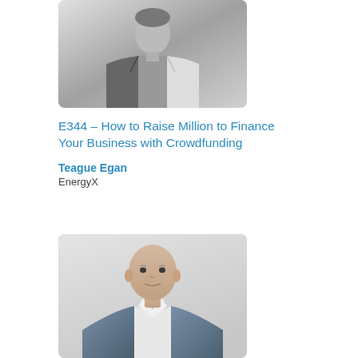[Figure (photo): Black and white photo of a man in a white jacket]
E344 – How to Raise Million to Finance Your Business with Crowdfunding
Teague Egan
EnergyX
[Figure (photo): Color photo of a bald man in a blue suit jacket and white shirt]